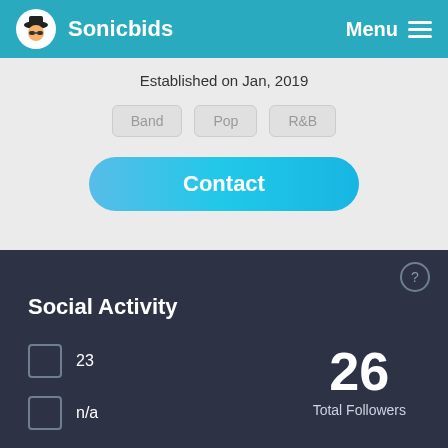Sonicbids  Menu
Established on Jan, 2019
Band
Pop
R&B
Contact
Social Activity
23
n/a
3
n/a
26
Total Followers